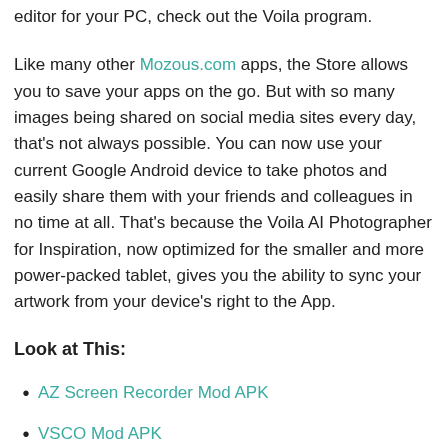editor for your PC, check out the Voila program.
Like many other Mozous.com apps, the Store allows you to save your apps on the go. But with so many images being shared on social media sites every day, that's not always possible. You can now use your current Google Android device to take photos and easily share them with your friends and colleagues in no time at all. That's because the Voila AI Photographer for Inspiration, now optimized for the smaller and more power-packed tablet, gives you the ability to sync your artwork from your device's right to the App.
Look at This:
AZ Screen Recorder Mod APK
VSCO Mod APK